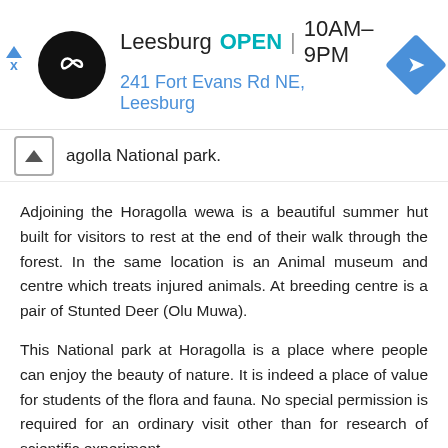[Figure (other): Advertisement banner for Leesburg store: logo, OPEN status, hours 10AM-9PM, address 241 Fort Evans Rd NE Leesburg, navigation arrow icon]
agolla National park.
Adjoining the Horagolla wewa is a beautiful summer hut built for visitors to rest at the end of their walk through the forest. In the same location is an Animal museum and centre which treats injured animals. At breeding centre is a pair of Stunted Deer (Olu Muwa).
This National park at Horagolla is a place where people can enjoy the beauty of nature. It is indeed a place of value for students of the flora and fauna. No special permission is required for an ordinary visit other than for research of scientific experiment.